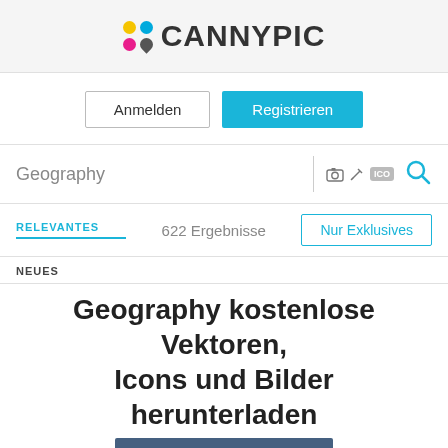[Figure (logo): CANNYPIC logo with colored dots (yellow, blue, pink, dark) and bold text]
Anmelden
Registrieren
Geography
RELEVANTES
622 Ergebnisse
Nur Exklusives
NEUES
Geography kostenlose Vektoren, Icons und Bilder herunterladen
[Figure (screenshot): Preview image showing a dark blue top bar and a black-and-white damask floral pattern with .ai and .psd file format badges]